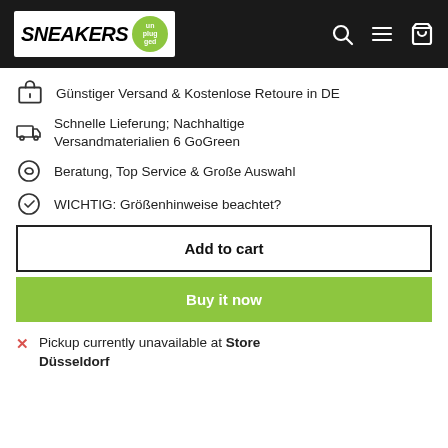SNEAKERS unplugged
Günstiger Versand & Kostenlose Retoure in DE
Schnelle Lieferung; Nachhaltige Versandmaterialien 6 GoGreen
Beratung, Top Service & Große Auswahl
WICHTIG: Größenhinweise beachtet?
Add to cart
Buy it now
Pickup currently unavailable at Store Düsseldorf